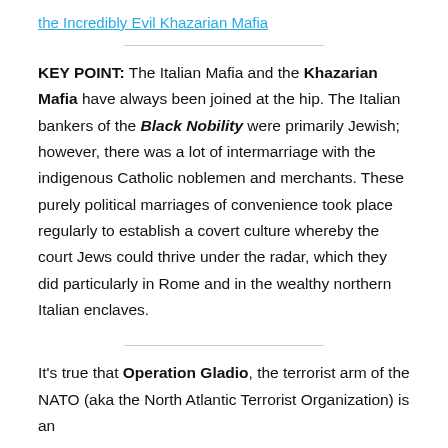the Incredibly Evil Khazarian Mafia
KEY POINT: The Italian Mafia and the Khazarian Mafia have always been joined at the hip. The Italian bankers of the Black Nobility were primarily Jewish; however, there was a lot of intermarriage with the indigenous Catholic noblemen and merchants. These purely political marriages of convenience took place regularly to establish a covert culture whereby the court Jews could thrive under the radar, which they did particularly in Rome and in the wealthy northern Italian enclaves.
It's true that Operation Gladio, the terrorist arm of the NATO (aka the North Atlantic Terrorist Organization) is an